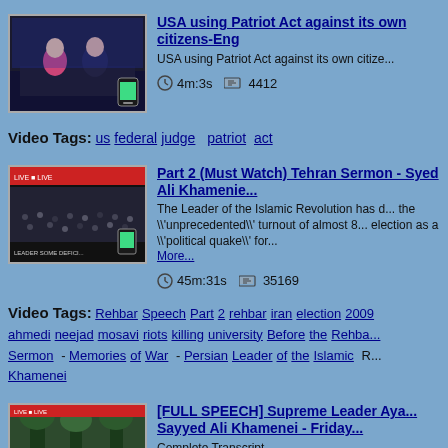[Figure (screenshot): Video thumbnail showing two news anchors at a desk]
USA using Patriot Act against its own citizens-Eng
USA using Patriot Act against its own citize...
4m:3s   4412
Video Tags:  us  federal  judge  patriot  act
[Figure (screenshot): Video thumbnail showing a large crowd, Tehran sermon]
Part 2 (Must Watch) Tehran Sermon - Syed Ali Khamenie...
The Leader of the Islamic Revolution has d... the \'unprecedented\' turnout of almost 8... election as a \'political quake\' for... More...
45m:31s   35169
Video Tags: Rehbar Speech Part 2 rehbar iran election 2009 ahmedi neejad mosavi riots killing university Before the Rehba... Sermon - Memories of War - Persian Leader of the Islamic R... Khamenei
[Figure (screenshot): Video thumbnail showing outdoor scene, trees]
[FULL SPEECH] Supreme Leader Aya... Sayyed Ali Khamenei - Friday...
Complete Transcript...